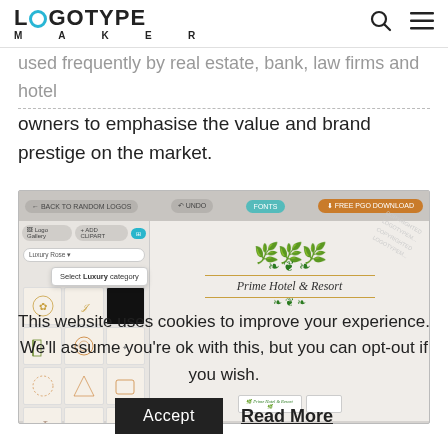LOGOTYPE MAKER
used frequently by real estate, bank, law firms and hotel owners to emphasise the value and brand prestige on the market.
[Figure (screenshot): Screenshot of Logotype Maker web application showing logo gallery with Luxury Rose category selected, tooltip saying 'Select Luxury category', and a preview of 'Prime Hotel & Resort' logo with green leaf design and italic script text.]
This website uses cookies to improve your experience. We'll assume you're ok with this, but you can opt-out if you wish.
Accept   Read More